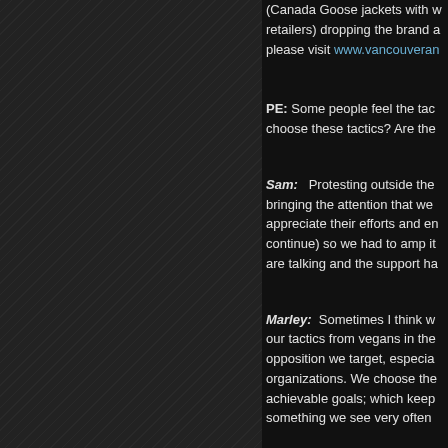(Canada Goose jackets with w... retailers) dropping the brand a... please visit www.vancouveran...
PE: Some people feel the tac... choose these tactics? Are the...
Sam: Protesting outside the... bringing the attention that we... appreciate their efforts and en... continue) so we had to amp it... are talking and the support ha...
Marley: Sometimes I think w... our tactics from vegans in the... opposition we target, especia... organizations. We choose the... achievable goals; which keep... something we see very often...